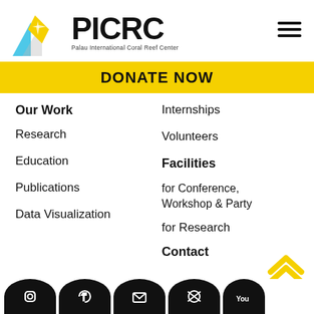[Figure (logo): PICRC logo with triangular shapes in blue and yellow, text reading PICRC and Palau International Coral Reef Center]
DONATE NOW
Our Work
Internships
Research
Volunteers
Education
Facilities
Publications
for Conference, Workshop & Party
Data Visualization
for Research
Contact
[Figure (illustration): Yellow double chevron up arrow icon in bottom right corner]
[Figure (illustration): Row of black social media icons at the bottom of the page (partially visible)]